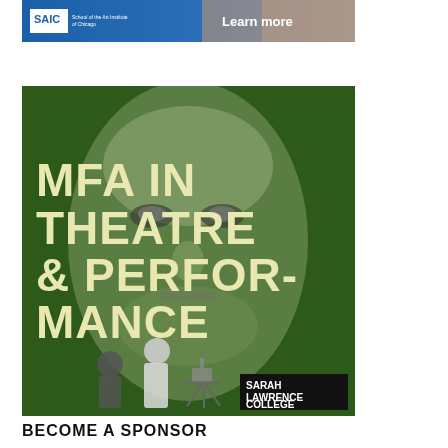[Figure (illustration): SAIC (School of the Art Institute of Chicago) banner advertisement with blue background, SAIC logo on left, and 'Learn more' text on right]
[Figure (illustration): Sarah Lawrence College MFA in Theatre & Performance advertisement. Features large projected face image in green/grey tones, bold text 'MFA IN THEATRE & PERFORMANCE' in yellow-cream color, two people standing in foreground, and Sarah Lawrence College logo in bottom right black box.]
BECOME A SPONSOR